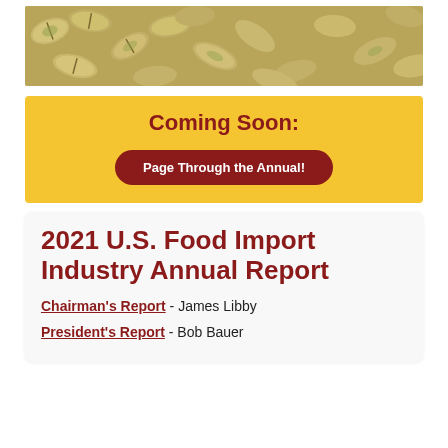[Figure (photo): Close-up photograph of pistachios in their shells, filling the entire frame]
Coming Soon:
Page Through the Annual!
2021 U.S. Food Import Industry Annual Report
Chairman's Report - James Libby
President's Report - Bob Bauer